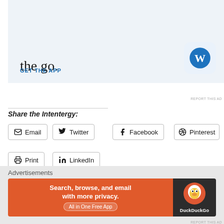[Figure (screenshot): WordPress app advertisement banner with light blue background showing partial text 'on the go.' and a WordPress icon, with GET THE APP link]
REPORT THIS AD
Share the Intentergy:
Email
Twitter
Facebook
Pinterest
Print
LinkedIn
Loading...
Advertisements
[Figure (screenshot): DuckDuckGo advertisement banner: orange left side with 'Search, browse, and email with more privacy. All in One Free App' and dark right side with DuckDuckGo logo]